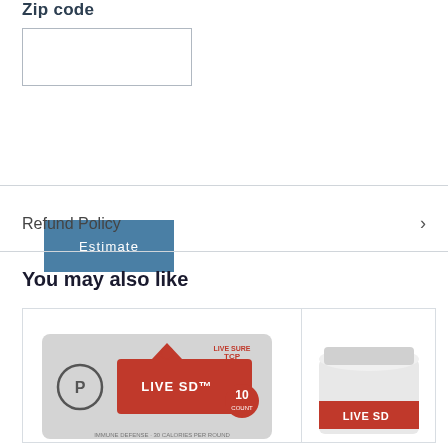Zip code
[Zip code input field]
Estimate
Refund Policy
You may also like
[Figure (photo): Product card showing LIVE SD TCP 10-count blister pack with red label and gray background]
[Figure (photo): Product card showing LIVE SD container/jar with red label, partially cropped]